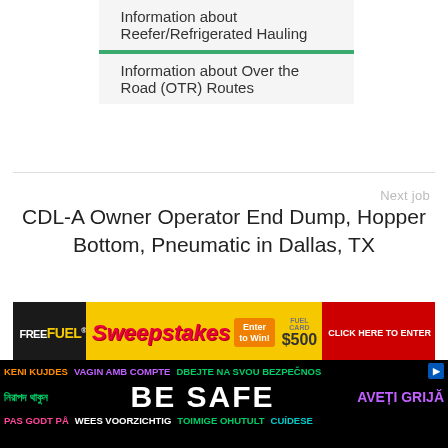Information about Reefer/Refrigerated Hauling
Information about Over the Road (OTR) Routes
Next job
CDL-A Owner Operator End Dump, Hopper Bottom, Pneumatic in Dallas, TX
[Figure (other): FreeFuel Sweepstakes advertisement banner with Enter to Win and $500 Fuel Card]
[Figure (other): BE SAFE multilingual safety banner with text in multiple languages including Keni Kujdes, Vagin Amb Compte, Dbejte Na Svou Bezpecnost, Bengali, Romanian, Danish, Dutch, Finnish, Spanish]